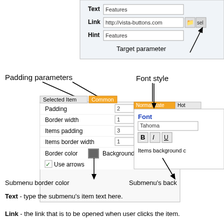[Figure (screenshot): UI screenshot showing a settings panel with Text, Link, Hint fields at top, and a padding parameters panel with tabs 'Selected Item' and 'Common', showing fields for Padding, Border width, Items padding, Items border width, Border color, Background color, Use arrows checkbox. Also shows a Font style panel on the right with Normal state/Hot tabs, Font field (Tahoma), bold/italic/underline buttons, and Items background color label. Arrows label 'Target parameter', 'Padding parameters', 'Font style', 'Submenu border color', 'Submenu's back']
Text - type the submenu's item text here.
Link - the link that is to be opened when user clicks the item.